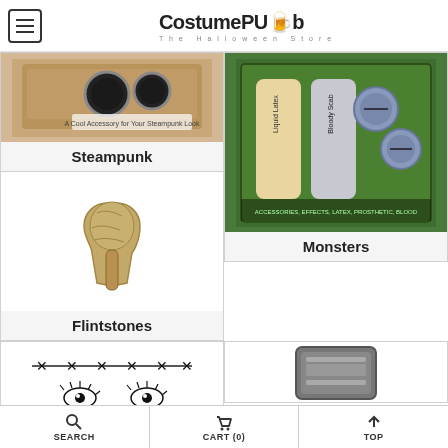CostumePub The Halloween Store
[Figure (screenshot): Steampunk costume accessory product image with goggles/lenses]
Steampunk
[Figure (screenshot): Monsters makeup kit with liquid latex and bloody scab products]
Monsters
[Figure (screenshot): Flintstones bone club prop accessory]
Flintstones
[Figure (screenshot): The Wizard of OZ face jewels/gems makeup set with eye and decorative designs]
The Wizard of OZ
[Figure (screenshot): Thor hammer prop partially visible]
[Figure (screenshot): Dark hair wig partially visible]
SEARCH   CART (0)   TOP